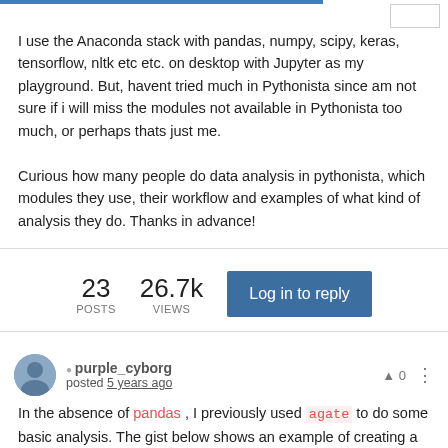I use the Anaconda stack with pandas, numpy, scipy, keras, tensorflow, nltk etc etc. on desktop with Jupyter as my playground. But, havent tried much in Pythonista since am not sure if i will miss the modules not available in Pythonista too much, or perhaps thats just me.

Curious how many people do data analysis in pythonista, which modules they use, their workflow and examples of what kind of analysis they do. Thanks in advance!
23 POSTS   26.7k VIEWS   Log in to reply
purple_cyborg
posted 5 years ago
In the absence of pandas , I previously used agate to do some basic analysis. The gist below shows an example of creating a test dataset of employee data, constructing a data table and assigning each record to a random group according to a specific frequency...